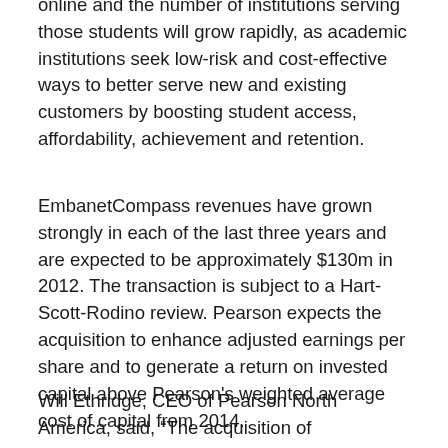online and the number of institutions serving those students will grow rapidly, as academic institutions seek low-risk and cost-effective ways to better serve new and existing customers by boosting student access, affordability, achievement and retention.
EmbanetCompass revenues have grown strongly in each of the last three years and are expected to be approximately $130m in 2012. The transaction is subject to a Hart-Scott-Rodino review. Pearson expects the acquisition to enhance adjusted earnings per share and to generate a return on invested capital above Pearson's weighted average cost of capital from 2014.
Will Ethridge, CEO of Pearson North America, said, “The acquisition of EmbanetCompass extends Pearson’s investment in two areas where we see great opportunities